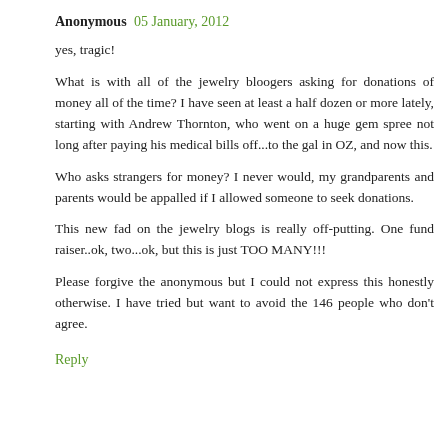Anonymous 05 January, 2012
yes, tragic!
What is with all of the jewelry bloogers asking for donations of money all of the time? I have seen at least a half dozen or more lately, starting with Andrew Thornton, who went on a huge gem spree not long after paying his medical bills off...to the gal in OZ, and now this.
Who asks strangers for money? I never would, my grandparents and parents would be appalled if I allowed someone to seek donations.
This new fad on the jewelry blogs is really off-putting. One fund raiser..ok, two...ok, but this is just TOO MANY!!!
Please forgive the anonymous but I could not express this honestly otherwise. I have tried but want to avoid the 146 people who don't agree.
Reply